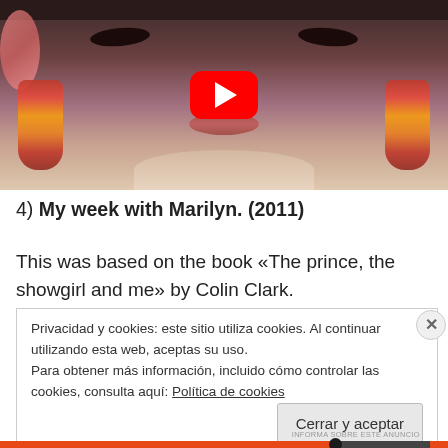[Figure (screenshot): YouTube video thumbnail showing close-up face of a woman with dark makeup, large red/gold chandelier earrings, pink flowers in background, with red YouTube play button overlay]
4) My week with Marilyn. (2011)
This was based on the book «The prince, the showgirl and me» by Colin Clark.
Privacidad y cookies: este sitio utiliza cookies. Al continuar utilizando esta web, aceptas su uso.
Para obtener más información, incluido cómo controlar las cookies, consulta aquí: Política de cookies
Cerrar y aceptar